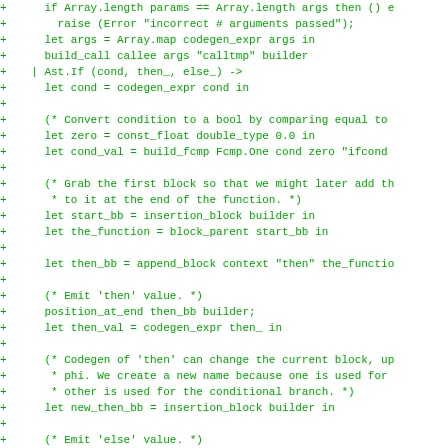[Figure (screenshot): Code diff screenshot showing OCaml source code with green '+' diff markers on a white background. The code implements code generation for function calls and if-expressions using LLVM bindings.]